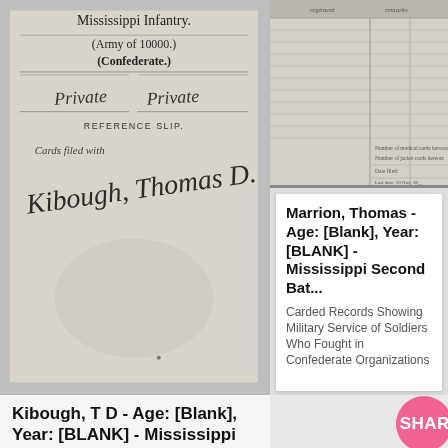[Figure (photo): Historical Confederate military reference slip for Mississippi Infantry (Army of 10000, Confederate). Shows handwritten 'Private Private', 'REFERENCE SLIP.', 'Cards filed with', and cursive signature 'Kibough, Thomas D.']
[Figure (photo): Historical ledger page showing lined rows with handwritten entries, partially visible columns for military records.]
Marrion, Thomas - Age: [Blank], Year: [BLANK] - Mississippi Second Bat...
Carded Records Showing Military Service of Soldiers Who Fought in Confederate Organizations
Kibough, T D - Age: [Blank], Year: [BLANK] - Mississippi Second Battal...